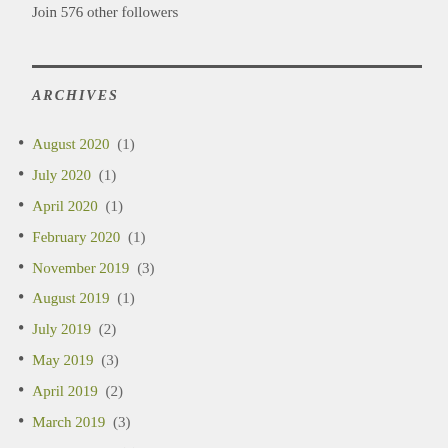Join 576 other followers
ARCHIVES
August 2020 (1)
July 2020 (1)
April 2020 (1)
February 2020 (1)
November 2019 (3)
August 2019 (1)
July 2019 (2)
May 2019 (3)
April 2019 (2)
March 2019 (3)
January 2019 (3)